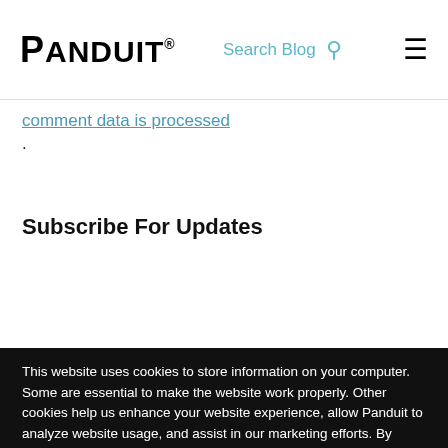Panduit® | Search Blog
comment data is processed.
Subscribe For Updates
This website uses cookies to store information on your computer. Some are essential to make the website work properly. Other cookies help us enhance your website experience, allow Panduit to analyze website usage, and assist in our marketing efforts. By using the website, you consent to the placement of these cookies. For more information, please review our privacy notice.
Cookie settings   ACCEPT